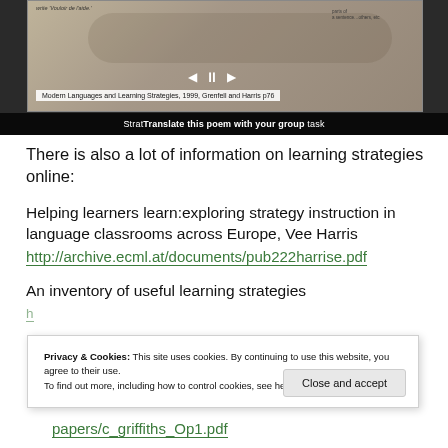[Figure (screenshot): Screenshot of a presentation slide showing a video player with an illustrated image and subtitle bar reading 'Translate this poem with your group task'. Slide caption reads 'Modern Languages and Learning Strategies, 1999, Grenfell and Harris p76'.]
There is also a lot of information on learning strategies online:
Helping learners learn:exploring strategy instruction in language classrooms across Europe, Vee Harris
http://archive.ecml.at/documents/pub222harrise.pdf
An inventory of useful learning strategies
Privacy & Cookies: This site uses cookies. By continuing to use this website, you agree to their use.
To find out more, including how to control cookies, see here: Cookie Policy
Close and accept
papers/c_griffiths_Op1.pdf